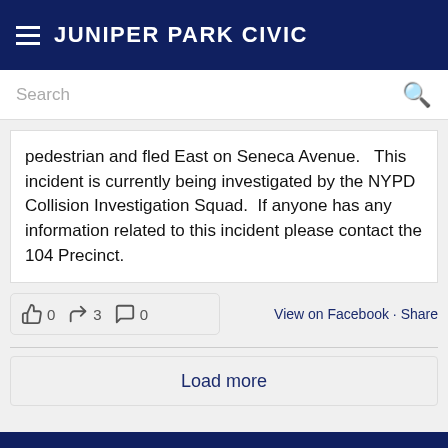JUNIPER PARK CIVIC
pedestrian and fled East on Seneca Avenue.   This incident is currently being investigated by the NYPD Collision Investigation Squad.  If anyone has any information related to this incident please contact the 104 Precinct.
👍 0  ↪ 3  💬 0  View on Facebook · Share
Load more
LINKS